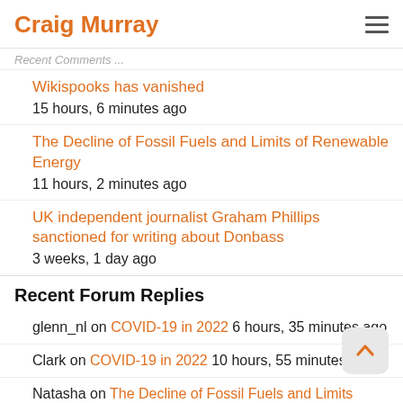Craig Murray
Recent Comments (truncated)
Wikispooks has vanished
15 hours, 6 minutes ago
The Decline of Fossil Fuels and Limits of Renewable Energy
11 hours, 2 minutes ago
UK independent journalist Graham Phillips sanctioned for writing about Donbass
3 weeks, 1 day ago
Recent Forum Replies
glenn_nl on COVID-19 in 2022 6 hours, 35 minutes ago
Clark on COVID-19 in 2022 10 hours, 55 minutes ago
Natasha on The Decline of Fossil Fuels and Limits